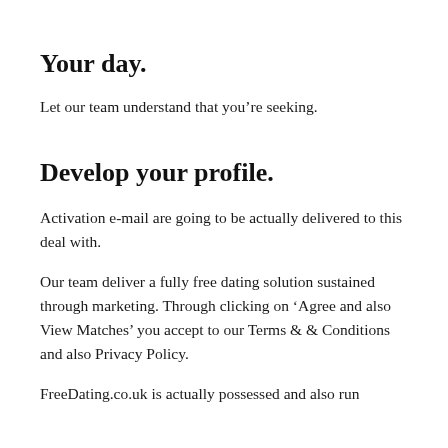Your day.
Let our team understand that you’re seeking.
Develop your profile.
Activation e-mail are going to be actually delivered to this deal with.
Our team deliver a fully free dating solution sustained through marketing. Through clicking on ‘Agree and also View Matches’ you accept to our Terms & & Conditions and also Privacy Policy.
FreeDating.co.uk is actually possessed and also run